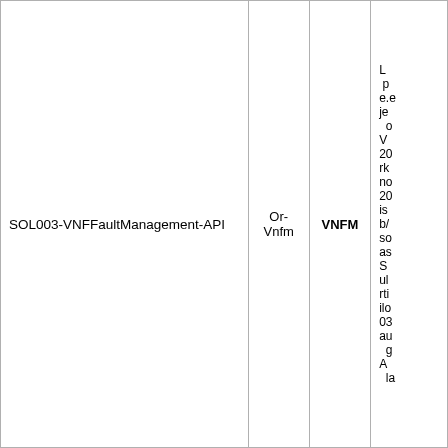| Name | Or-Vnfm | VNFM |  |
| --- | --- | --- | --- |
| SOL003-VNFFaultManagement-API | Or-
Vnfm | VNFM | L p e.e je o V 20 rk no 20 is b/ so as S ul rti ilo 03 au g A la |